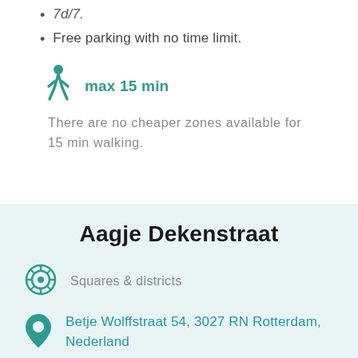7d/7.
Free parking with no time limit.
max 15 min
There are no cheaper zones available for 15 min walking.
Aagje Dekenstraat
Squares & districts
Betje Wolffstraat 54, 3027 RN Rotterdam, Nederland